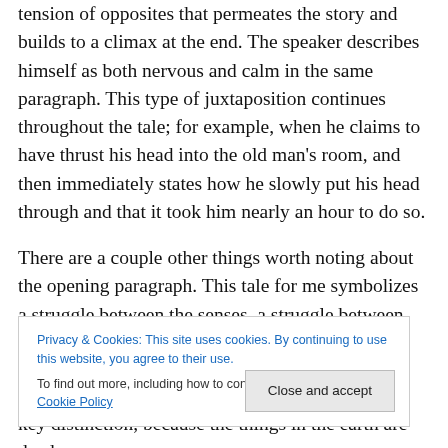tension of opposites that permeates the story and builds to a climax at the end. The speaker describes himself as both nervous and calm in the same paragraph. This type of juxtaposition continues throughout the tale; for example, when he claims to have thrust his head into the old man's room, and then immediately states how he slowly put his head through and that it took him nearly an hour to do so.
There are a couple other things worth noting about the opening paragraph. This tale for me symbolizes a struggle between the senses, a struggle between the auditory and the visual—the auditory represented by the speaker and
Privacy & Cookies: This site uses cookies. By continuing to use this website, you agree to their use.
To find out more, including how to control cookies, see here: Cookie Policy
key distinction, because the things in the earth are dead.